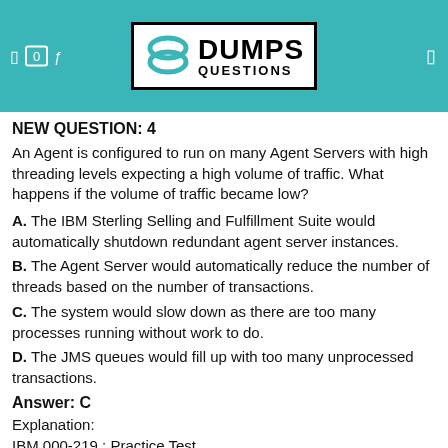DUMPS QUESTIONS
NEW QUESTION: 4
An Agent is configured to run on many Agent Servers with high threading levels expecting a high volume of traffic. What happens if the volume of traffic became low?
A. The IBM Sterling Selling and Fulfillment Suite would automatically shutdown redundant agent server instances.
B. The Agent Server would automatically reduce the number of threads based on the number of transactions.
C. The system would slow down as there are too many processes running without work to do.
D. The JMS queues would fill up with too many unprocessed transactions.
Answer: C
Explanation:
IBM 000-219 : Practice Test